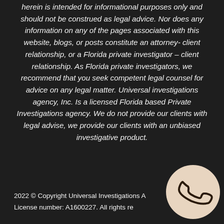herein is intended for informational purposes only and should not be construed as legal advice. Nor does any information on any of the pages associated with this website, blogs, or posts constitute an attorney- client relationship, or a Florida private investigator – client relationship. As Florida private investigators, we recommend that you seek competent legal counsel for advice on any legal matter. Universal investigations agency, Inc. Is a licensed Florida based Private Investigations agency. We do not provide our clients with legal advise, we provide our clients with an unbiased investigative product.
2022 © Copyright Universal Investigations Agency, Inc. License number: A1600227. All rights reserved.
[Figure (illustration): A beige/tan circle containing a phone handset icon (outline style), positioned in the bottom-right corner of the page.]